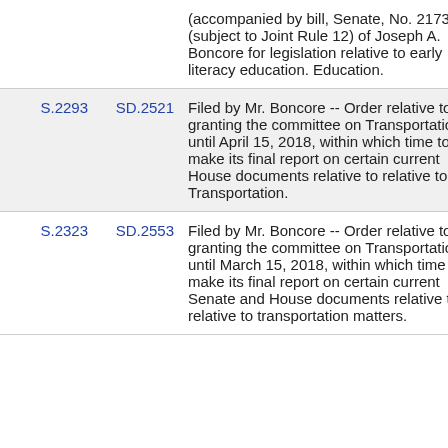| Bill | SD | Description |
| --- | --- | --- |
|  |  | (accompanied by bill, Senate, No. 2173) (subject to Joint Rule 12) of Joseph A. Boncore for legislation relative to early literacy education. Education. |
| S.2293 | SD.2521 | Filed by Mr. Boncore -- Order relative to granting the committee on Transportation until April 15, 2018, within which time to make its final report on certain current House documents relative to relative to Transportation. |
| S.2323 | SD.2553 | Filed by Mr. Boncore -- Order relative to granting the committee on Transportation until March 15, 2018, within which time to make its final report on certain current Senate and House documents relative to relative to transportation matters. |